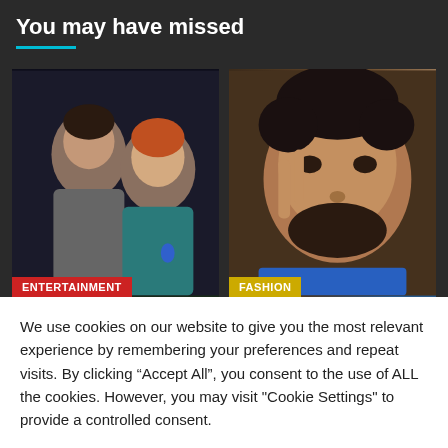You may have missed
[Figure (photo): Two men posing together at an event, one in a gray suit and one in a teal turtleneck with a blue ribbon pin. Badge reads ENTERTAINMENT.]
[Figure (photo): Close-up of a man with dark curly hair and beard holding his fingers near his face. Badge reads FASHION.]
We use cookies on our website to give you the most relevant experience by remembering your preferences and repeat visits. By clicking “Accept All”, you consent to the use of ALL the cookies. However, you may visit "Cookie Settings" to provide a controlled consent.
Cookie Settings
Accept All